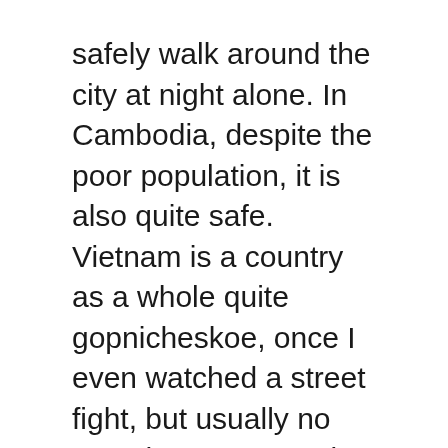safely walk around the city at night alone. In Cambodia, despite the poor population, it is also quite safe. Vietnam is a country as a whole quite gopnicheskoe, once I even watched a street fight, but usually no one shows aggression towards foreigners.
About us
Contact
Privacy Policy & Cookies
ATTENTION TO RIGHT HOLDERS! All materials are posted on the site strictly for informational and educational purposes! If you believe that the posting of any material